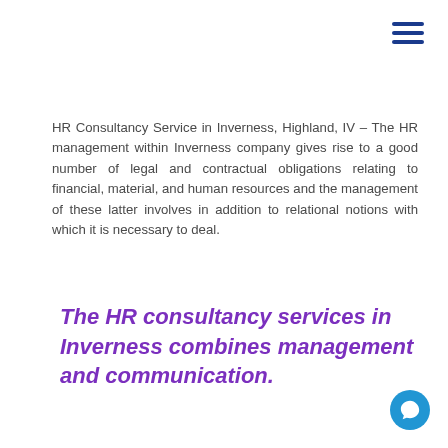[Figure (other): Hamburger menu icon with three horizontal blue lines in top right corner]
HR Consultancy Service in Inverness, Highland, IV – The HR management within Inverness company gives rise to a good number of legal and contractual obligations relating to financial, material, and human resources and the management of these latter involves in addition to relational notions with which it is necessary to deal.
The HR consultancy services in Inverness combines management and communication.
[Figure (other): Blue circular chat/support button in bottom right corner]